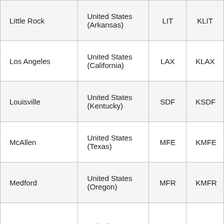| Little Rock | United States (Arkansas) | LIT | KLIT |
| Los Angeles | United States (California) | LAX | KLAX |
| Louisville | United States (Kentucky) | SDF | KSDF |
| McAllen | United States (Texas) | MFE | KMFE |
| Medford | United States (Oregon) | MFR | KMFR |
|  | United States |  |  |